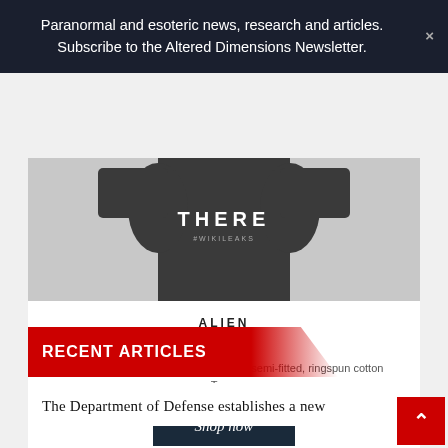Paranormal and esoteric news, research and articles. Subscribe to the Altered Dimensions Newsletter.
[Figure (photo): Person wearing a dark t-shirt with text 'THERE' and smaller text underneath, standing against a white brick wall background.]
ALIEN WEAR
Dare to be different with these quality, semi-fitted, ringspun cotton Tees.
Shop now
RECENT ARTICLES
The Department of Defense establishes a new